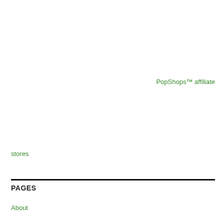PopShops™ affiliate
stores
PAGES
About